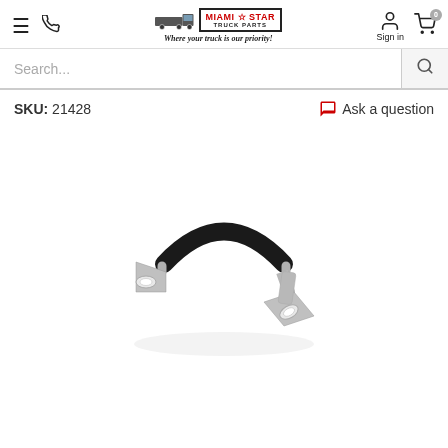Miami Star Truck Parts — Where your truck is our priority!
Search...
SKU: 21428
Ask a question
[Figure (photo): A metal cable/hose clamp clip with black rubber lining on the curved portion and two flat metal tabs with oval holes at each end, photographed on a white background.]